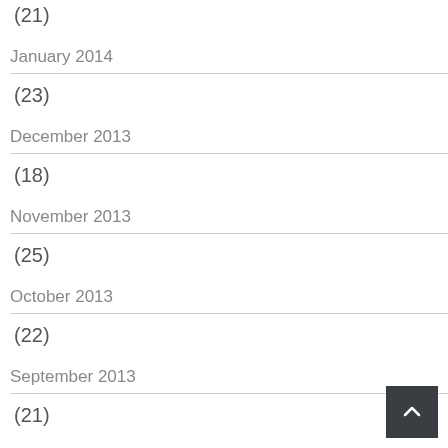(21)
January 2014
(23)
December 2013
(18)
November 2013
(25)
October 2013
(22)
September 2013
(21)